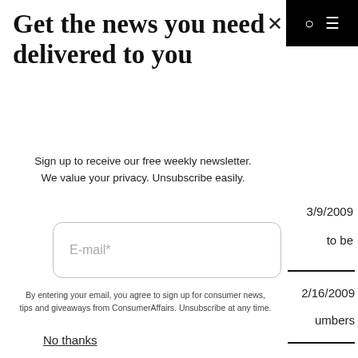Get the news you need delivered to you
Sign up to receive our free weekly newsletter. We value your privacy. Unsubscribe easily.
E-mail*
By entering your email, you agree to sign up for consumer news, tips and giveaways from ConsumerAffairs. Unsubscribe at any time.
Sign up & Continue
3/9/2009
to be
2/16/2009
umbers
No thanks